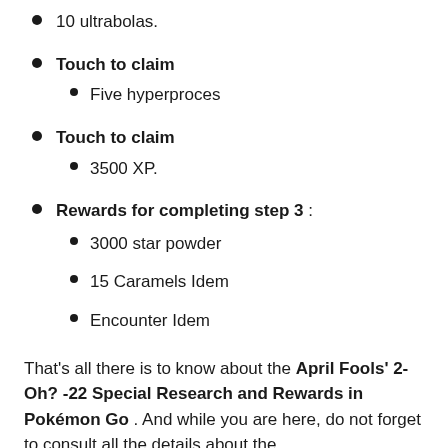10 ultrabolas.
Touch to claim
Five hyperproces
Touch to claim
3500 XP.
Rewards for completing step 3 :
3000 star powder
15 Caramels Idem
Encounter Idem
That's all there is to know about the April Fools' 2-Oh? -22 Special Research and Rewards in Pokémon Go . And while you are here, do not forget to consult all the details about the